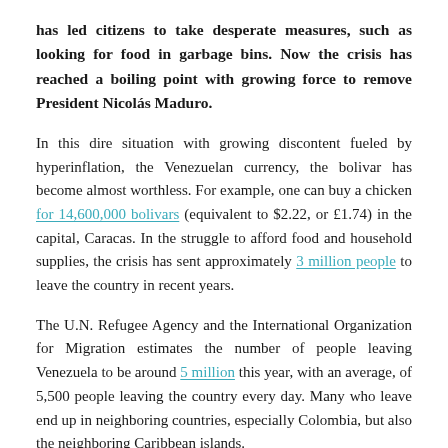has led citizens to take desperate measures, such as looking for food in garbage bins. Now the crisis has reached a boiling point with growing force to remove President Nicolás Maduro.
In this dire situation with growing discontent fueled by hyperinflation, the Venezuelan currency, the bolivar has become almost worthless. For example, one can buy a chicken for 14,600,000 bolivars (equivalent to $2.22, or £1.74) in the capital, Caracas. In the struggle to afford food and household supplies, the crisis has sent approximately 3 million people to leave the country in recent years.
The U.N. Refugee Agency and the International Organization for Migration estimates the number of people leaving Venezuela to be around 5 million this year, with an average, of 5,500 people leaving the country every day. Many who leave end up in neighboring countries, especially Colombia, but also the neighboring Caribbean islands.